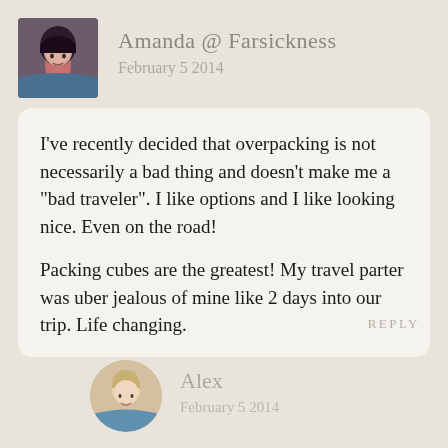[Figure (photo): Profile photo of Amanda, a woman with dark hair, in a small rounded-square avatar]
Amanda @ Farsickness
February 5 2014
I’ve recently decided that overpacking is not necessarily a bad thing and doesn’t make me a “bad traveler”. I like options and I like looking nice. Even on the road!

Packing cubes are the greatest! My travel parter was uber jealous of mine like 2 days into our trip. Life changing.
REPLY
[Figure (photo): Profile photo of Alex, a woman with blonde hair, in a circular avatar]
Alex
February 5 2014